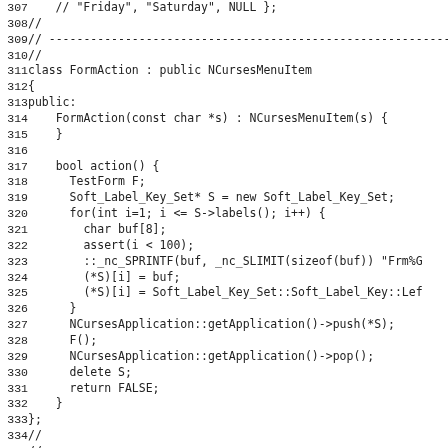Source code listing, lines 307-339, C++ code showing FormAction and PadAction class definitions